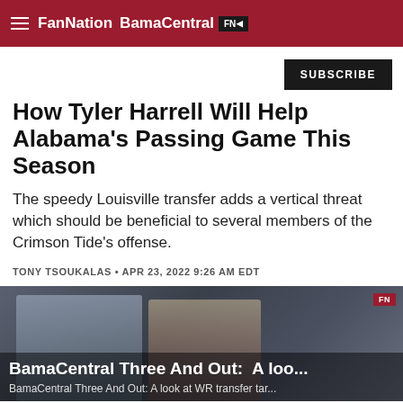FanNation BamaCentral
SUBSCRIBE
How Tyler Harrell Will Help Alabama's Passing Game This Season
The speedy Louisville transfer adds a vertical threat which should be beneficial to several members of the Crimson Tide's offense.
TONY TSOUKALAS • APR 23, 2022 9:26 AM EDT
[Figure (screenshot): Video thumbnail showing two people on screen with overlay text 'BamaCentral Three And Out: A loo...' and subtitle 'BamaCentral Three And Out: A look at WR transfer tar...' with FN badge]